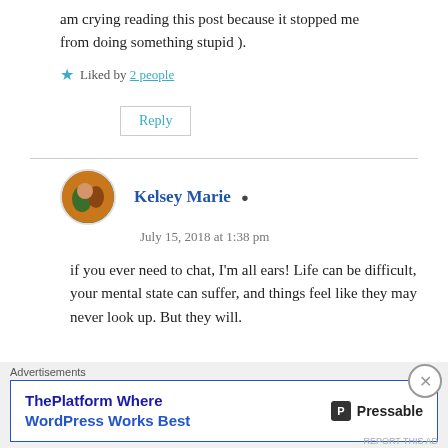am crying reading this post because it stopped me from doing something stupid ).
Liked by 2 people
Reply
Kelsey Marie
July 15, 2018 at 1:38 pm
if you ever need to chat, I'm all ears! Life can be difficult, your mental state can suffer, and things feel like they may never look up. But they will.
Advertisements
ThePlatform Where WordPress Works Best   Pressable